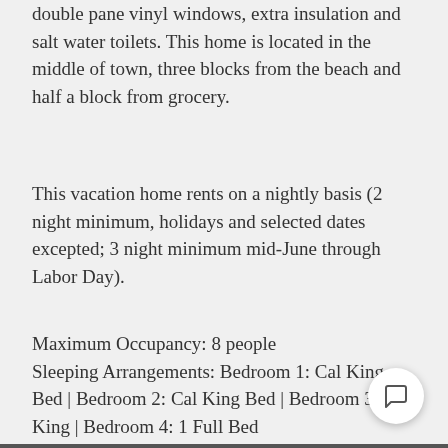double pane vinyl windows, extra insulation and salt water toilets. This home is located in the middle of town, three blocks from the beach and half a block from grocery.
This vacation home rents on a nightly basis (2 night minimum, holidays and selected dates excepted; 3 night minimum mid-June through Labor Day).
Maximum Occupancy: 8 people Sleeping Arrangements: Bedroom 1: Cal King Bed | Bedroom 2: Cal King Bed | Bedroom 3: Cal King | Bedroom 4: 1 Full Bed